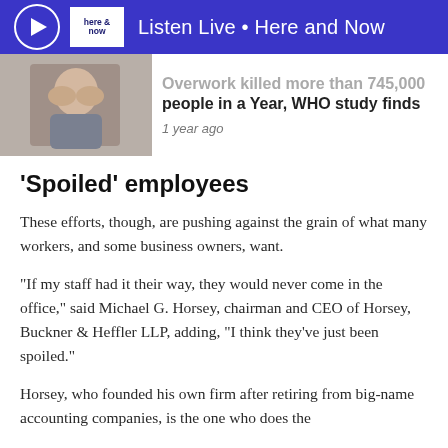Listen Live • Here and Now
Overwork killed more than 745,000 people in a Year, WHO study finds
1 year ago
'Spoiled' employees
These efforts, though, are pushing against the grain of what many workers, and some business owners, want.
“If my staff had it their way, they would never come in the office,” said Michael G. Horsey, chairman and CEO of Horsey, Buckner & Heffler LLP, adding, “I think they’ve just been spoiled.”
Horsey, who founded his own firm after retiring from big-name accounting companies, is the one who does the